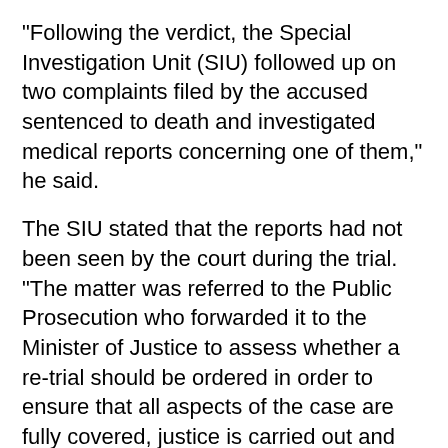“Following the verdict, the Special Investigation Unit (SIU) followed up on two complaints filed by the accused sentenced to death and investigated medical reports concerning one of them,” he said.
The SIU stated that the reports had not been seen by the court during the trial. "The matter was referred to the Public Prosecution who forwarded it to the Minister of Justice to assess whether a re-trial should be ordered in order to ensure that all aspects of the case are fully covered, justice is carried out and judges are aware of all details regarding the confessions," he said.
The moves are in line with Article 253 of the Code of Criminal Procedures that stipulates that the judge "shall not base his judgement upon any evidence that has not been brought before him at the hearing", which is in accordance of Article 15 of the Convention against Torture.
The Minister of Justice presented a request to the President of the Cassation Court for a retrial to ensure full justice and the court sent the case back to a different High